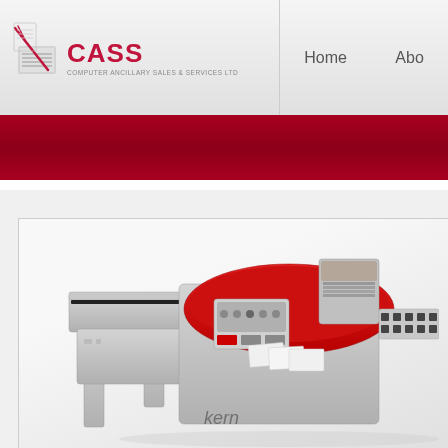[Figure (logo): CASS Computer Ancillary Sales & Services Ltd logo with red stylized pen/keyboard icon]
Home
Abo
[Figure (photo): Photo of a Kern industrial mailing/envelope inserting machine in white and red colors]